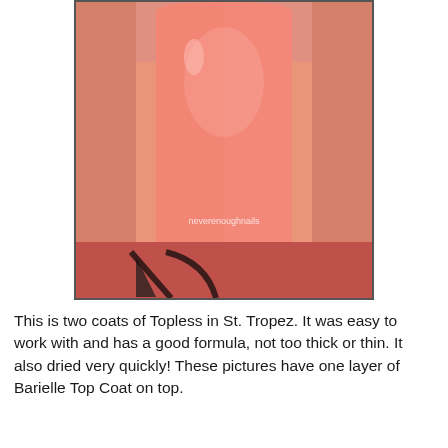[Figure (photo): Close-up photo of a fingernail painted with a coral/salmon pink nail polish (Topless in St. Tropez), shown against a blurred background. A watermark reading 'neverenoughnails' appears in the lower portion of the image.]
This is two coats of Topless in St. Tropez. It was easy to work with and has a good formula, not too thick or thin. It also dried very quickly! These pictures have one layer of Barielle Top Coat on top.